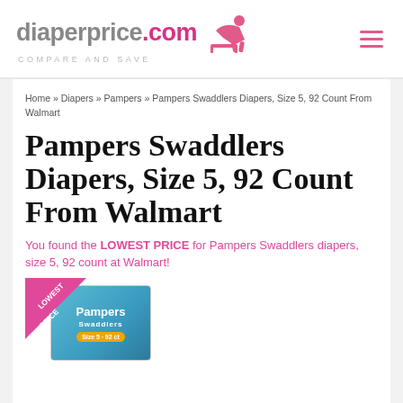diaperprice.com COMPARE AND SAVE
Home » Diapers » Pampers » Pampers Swaddlers Diapers, Size 5, 92 Count From Walmart
Pampers Swaddlers Diapers, Size 5, 92 Count From Walmart
You found the LOWEST PRICE for Pampers Swaddlers diapers, size 5, 92 count at Walmart!
[Figure (photo): Product image of Pampers Swaddlers Diapers box with a pink 'LOWEST PRICE' ribbon badge overlaid on the top-left corner]